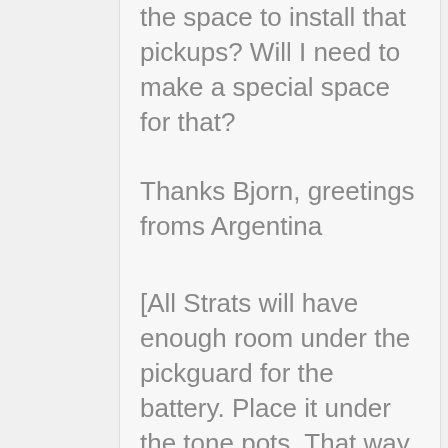the space to install that pickups? Will I need to make a special space for that?
Thanks Bjorn, greetings froms Argentina
[All Strats will have enough room under the pickguard for the battery. Place it under the tone pots. That way it'll be easy to change as well. – Bjorn]